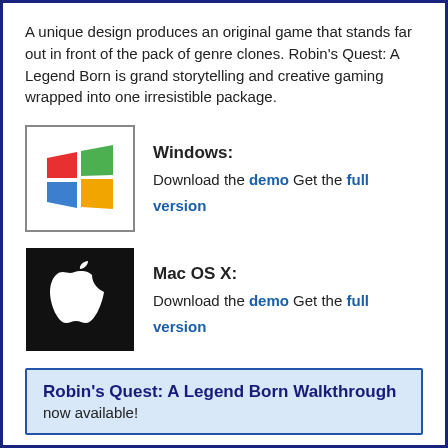A unique design produces an original game that stands far out in front of the pack of genre clones. Robin's Quest: A Legend Born is grand storytelling and creative gaming wrapped into one irresistible package.
[Figure (logo): Windows logo icon with four colored flag quadrants (red, green, blue, yellow)]
Windows: Download the demo Get the full version
[Figure (logo): Apple Mac logo: white Apple icon on black background]
Mac OS X: Download the demo Get the full version
Robin's Quest: A Legend Born Walkthrough now available!